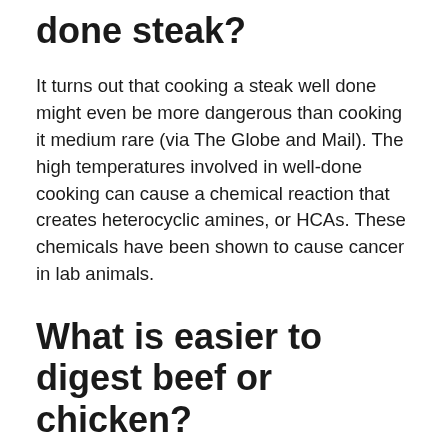done steak?
It turns out that cooking a steak well done might even be more dangerous than cooking it medium rare (via The Globe and Mail). The high temperatures involved in well-done cooking can cause a chemical reaction that creates heterocyclic amines, or HCAs. These chemicals have been shown to cause cancer in lab animals.
What is easier to digest beef or chicken?
How does meat affect your gut health? Protein tends to digest faster than fat in the body, so leaner cuts of meat should digest more quickly. While fish and shellfish